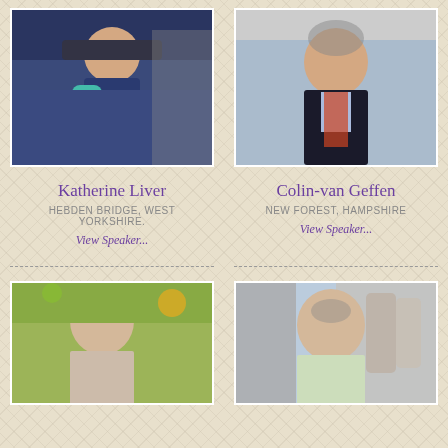[Figure (photo): Photo of Katherine Liver, a young woman wearing a blue jacket and teal scarf, smiling in front of shelves with goods]
[Figure (photo): Photo of Colin-van Geffen, an older man in a dark suit with a patterned tie, smiling]
Katherine Liver
HEBDEN BRIDGE, WEST YORKSHIRE.
View Speaker...
Colin-van Geffen
NEW FOREST, HAMPSHIRE
View Speaker...
[Figure (photo): Photo of an older man with grey hair, outdoors near citrus trees]
[Figure (photo): Photo of an older man with glasses, inside what appears to be a church or historic building]